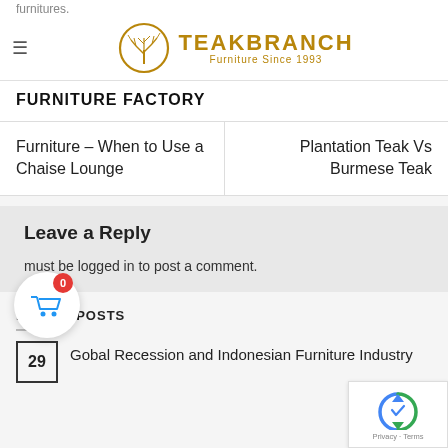furnitures.
TEAKBRANCH Furniture Since 1993
FURNITURE FACTORY
Furniture – When to Use a Chaise Lounge
Plantation Teak Vs Burmese Teak
Leave a Reply
must be logged in to post a comment.
LATEST POSTS
Gobal Recession and Indonesian Furniture Industry